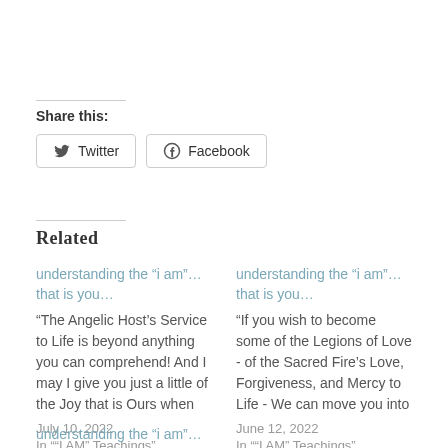Share this:
Twitter  Facebook
Related
understanding the “i am”… that is you…
"The Angelic Host's Service to Life is beyond anything you can comprehend! And I may I give you just a little of the Joy that is Ours when
July 10, 2022
In "“I AM” Teachings"
understanding the “i am”… that is you…
"If you wish to become some of the Legions of Love - of the Sacred Fire’s Love, Forgiveness, and Mercy to Life - We can move you into
June 12, 2022
In "“I AM” Teachings"
understanding the “i am”…